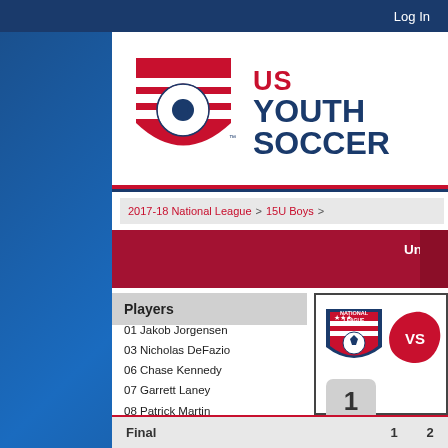Log In
[Figure (logo): US Youth Soccer logo with shield and soccer ball, red and navy blue text reading US YOUTH SOCCER]
2017-18 National League > 15U Boys >
United SA Mount Pleasant 03 Premier (SC) (PDMT1)
Players
01 Jakob Jorgensen
03 Nicholas DeFazio
06 Chase Kennedy
07 Garrett Laney
08 Patrick Martin
09 Michael Petry
10 Kevin Pierre
11 Travis Samatov
12 Cooper Van Beyrer
13 Ted Van Thullenar
14 ...
[Figure (logo): National League shield logo with stars and soccer ball]
[Figure (infographic): Red splatter VS badge]
1
| Final | 1 | 2 |
| --- | --- | --- |